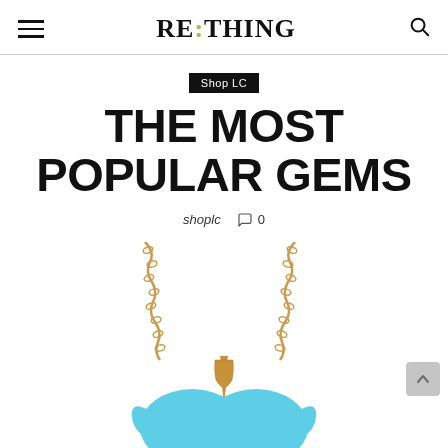RE:THING
Shop LC
THE MOST POPULAR GEMS
shoplc  💬 0
[Figure (photo): A turquoise heart-shaped gemstone pendant on a gold chain, partially cropped at the bottom. The pendant features a gold bail/cap and the turquoise stone is a bright sky blue.]